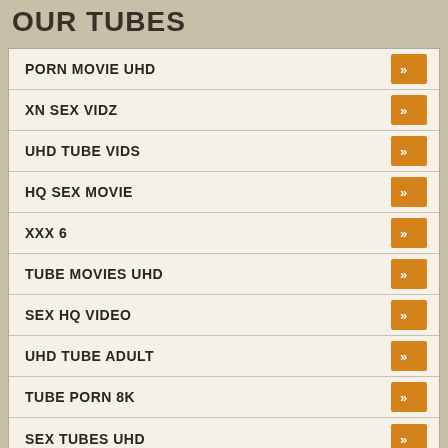OUR TUBES
PORN MOVIE UHD
XN SEX VIDZ
UHD TUBE VIDS
HQ SEX MOVIE
XXX 6
TUBE MOVIES UHD
SEX HQ VIDEO
UHD TUBE ADULT
TUBE PORN 8K
SEX TUBES UHD